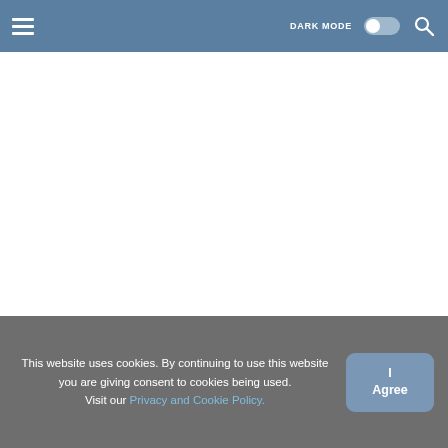DARK MODE
[Figure (screenshot): White blank image placeholder area for article thumbnail]
6 Ways to Start a Supplement Business
Business | Products   20, Mar 2022
This website uses cookies. By continuing to use this website you are giving consent to cookies being used. Visit our Privacy and Cookie Policy.